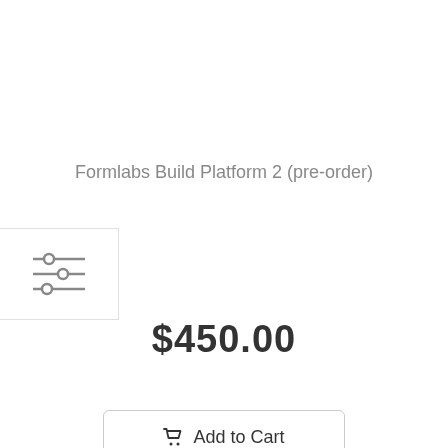Formlabs Build Platform 2 (pre-order)
$450.00
Add to Cart
[Figure (photo): Formlabs Build Platform 2 product - circular build platform viewed from above, showing white/light grey round disc with holes around the perimeter and a dark mechanical clip/connector at the bottom center]